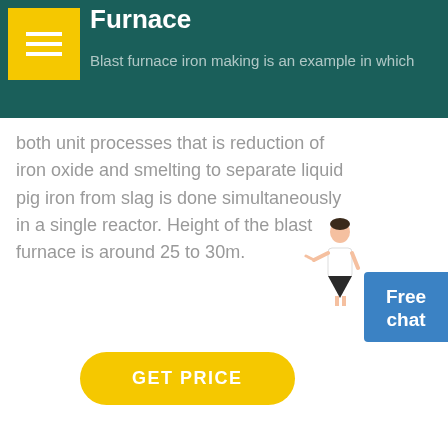Furnace
Blast furnace iron making is an example in which both unit processes that is reduction of iron oxide and smelting to separate liquid pig iron from slag is done simultaneously in a single reactor. Height of the blast furnace is around 25 to 30m.
GET PRICE
[Figure (photo): Three industrial photos showing mining/steel plant equipment and machinery]
How Steel Is Made - A Summary Of A